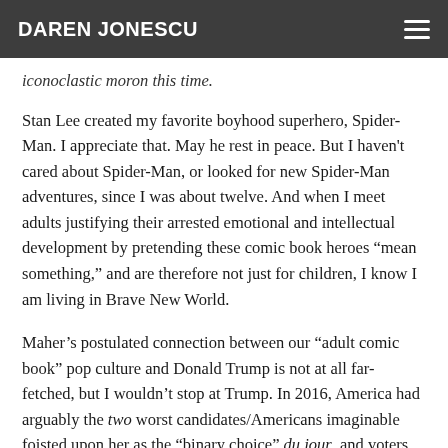DAREN JONESCU
iconoclastic moron this time.
Stan Lee created my favorite boyhood superhero, Spider-Man. I appreciate that. May he rest in peace. But I haven't cared about Spider-Man, or looked for new Spider-Man adventures, since I was about twelve. And when I meet adults justifying their arrested emotional and intellectual development by pretending these comic book heroes “mean something,” and are therefore not just for children, I know I am living in Brave New World.
Maher’s postulated connection between our “adult comic book” pop culture and Donald Trump is not at all far-fetched, but I wouldn’t stop at Trump. In 2016, America had arguably the two worst candidates/Americans imaginable foisted upon her as the “binary choice” du jour, and voters split the vote almost perfectly down the middle. Would this entire scenario have been possible in a society that had not long ago sacrificed its adult rationality and spirit of individual self-reliance in exchange for easy answers, collective